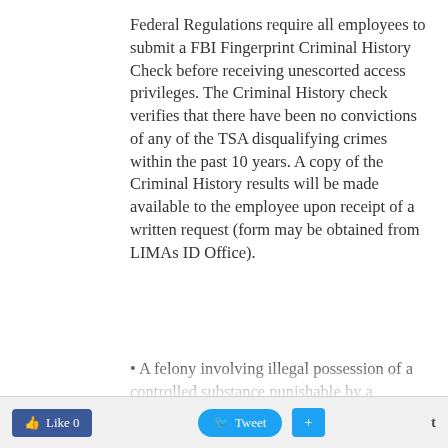Federal Regulations require all employees to submit a FBI Fingerprint Criminal History Check before receiving unescorted access privileges. The Criminal History check verifies that there have been no convictions of any of the TSA disqualifying crimes within the past 10 years. A copy of the Criminal History results will be made available to the employee upon receipt of a written request (form may be obtained from LIMAs ID Office).
• A felony involving illegal possession of a controlled substance punishable by a maximum term of imprisonment of more than 1 year.